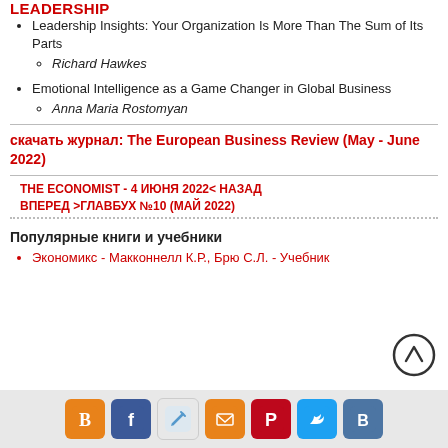LEADERSHIP
Leadership Insights: Your Organization Is More Than The Sum of Its Parts
Richard Hawkes
Emotional Intelligence as a Game Changer in Global Business
Anna Maria Rostomyan
скачать журнал: The European Business Review (May - June 2022)
THE ECONOMIST - 4 ИЮНЯ 2022< НАЗАД
ВПЕРЕД >ГЛАВБУХ №10 (МАЙ 2022)
Популярные книги и учебники
Экономикс - Макконнелл К.Р., Брю С.Л. - Учебник
[Figure (infographic): Social media share icons: Blogger, Facebook, Edit/Pen, Email, Pinterest, Twitter, VK]